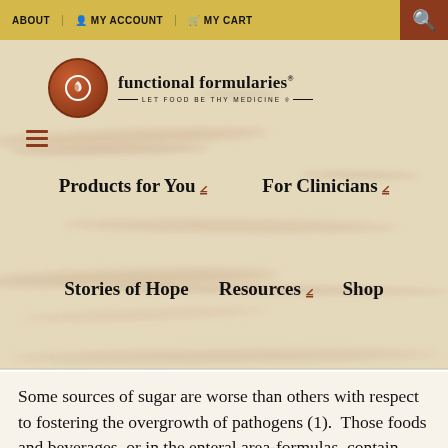ABOUT | MY ACCOUNT | MY CART | [search]
[Figure (logo): Functional Formularies logo with circular icon and tagline LET FOOD BE THY MEDICINE]
Products for You ∨   For Clinicians ∨
Stories of Hope   Resources ∨   Shop
Some sources of sugar are worse than others with respect to fostering the overgrowth of pathogens (1).  Those foods and beverages, or in the enteral area-formulas, contain much of their sugar in the